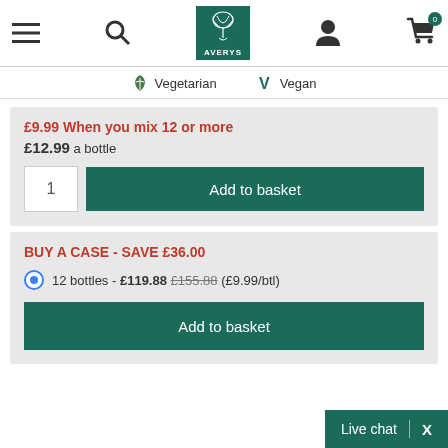[Figure (screenshot): Averys wine merchant website header with hamburger menu, search icon, Averys logo (dark teal background), user icon, and shopping cart with 0 badge]
Vegetarian  Vegan
£9.99 When you mix 12 or more
£12.99 a bottle
1  Add to basket
BUY A CASE - SAVE £36.00
12 bottles - £119.88 £155.88 (£9.99/btl)
Add to basket
Live chat  X